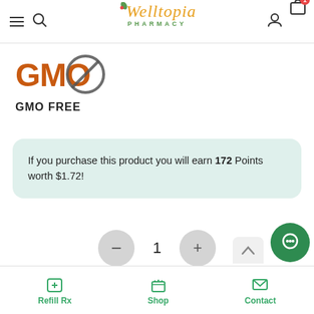Welltopia Pharmacy — navigation header with hamburger menu, search, logo, user icon, cart (1 item)
[Figure (logo): GMO Free logo: orange block letters 'GMO' with a prohibition circle, label 'GMO FREE' below]
If you purchase this product you will earn 172 Points worth $1.72!
Quantity selector: minus button, 1, plus button
Buy now >>
Refill Rx | Shop | Contact